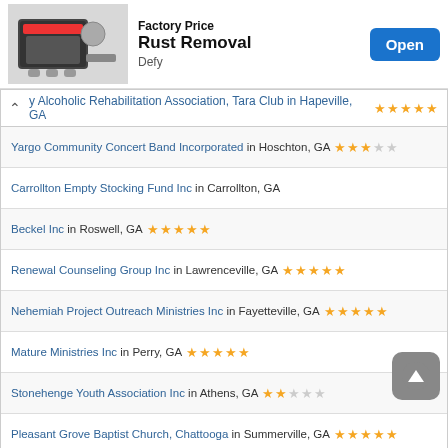[Figure (screenshot): Ad banner for Factory Price Rust Removal product by Defy with Open button]
y Alcoholic Rehabilitation Association, Tara Club in Hapeville, GA ★★★★½
Yargo Community Concert Band Incorporated in Hoschton, GA ★★½☆☆
Carrollton Empty Stocking Fund Inc in Carrollton, GA
Beckel Inc in Roswell, GA ★★★★★
Renewal Counseling Group Inc in Lawrenceville, GA ★★★★★
Nehemiah Project Outreach Ministries Inc in Fayetteville, GA ★★★★★
Mature Ministries Inc in Perry, GA ★★★★★
Stonehenge Youth Association Inc in Athens, GA ★★☆☆☆
Pleasant Grove Baptist Church, Chattooga in Summerville, GA ★★★★★
Hogansville Charitable Trust Inc in Hogansville, GA
| Id ↑ | Name | Address | State | Established | Total |
| --- | --- | --- | --- | --- | --- |